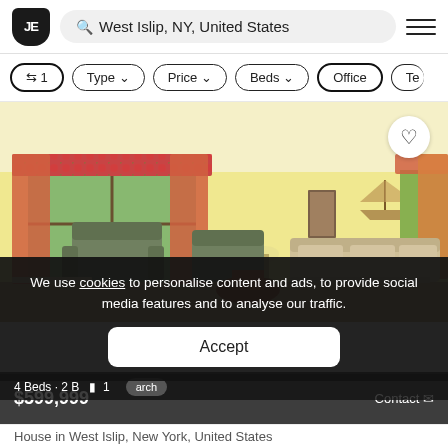JE  Q West Islip, NY, United States  ≡
⇄ 1
Type ∨
Price ∨
Beds ∨
Office
Te
[Figure (photo): Interior photo of a living room with yellow walls, floral curtains, recliner chairs, a sofa, and a round wooden table. Natural light from large windows.]
We use cookies to personalise content and ads, to provide social media features and to analyse our traffic.
Accept
$599,999
Contact ✉
4 Beds · 2 B  III 1  arch
House in West Islip, New York, United States